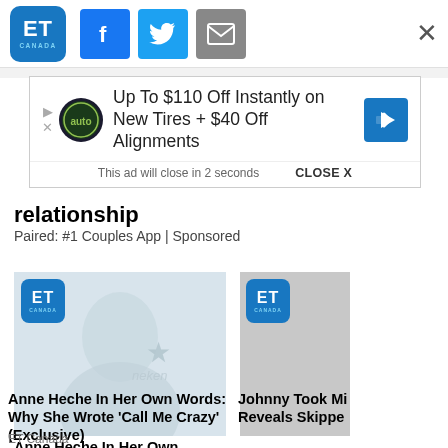[Figure (screenshot): ET Canada logo with social sharing buttons (Facebook, Twitter, Email) and a close X button in a top navigation bar]
[Figure (screenshot): Advertisement banner: 'Up To $110 Off Instantly on New Tires + $40 Off Alignments' with play button, Midas auto logo, and blue arrow icon. Footer says 'This ad will close in 2 seconds' and 'CLOSE X']
relationship
Paired: #1 Couples App | Sponsored
[Figure (photo): Photo of Anne Heche, a blonde woman smiling, with ET Canada logo overlay in top left. Background shows event signage.]
Anne Heche In Her Own Words: Why She Wrote ‘Call Me Crazy’ (Exclusive)
ET Canada
[Figure (photo): Partial photo on right side with ET Canada logo overlay. Article partially visible.]
Johnny Took Mi Reveals Skippe